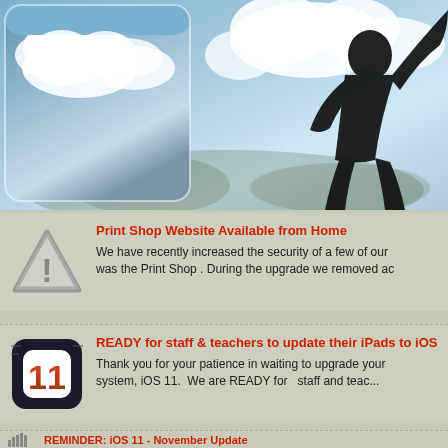[Figure (photo): Hero image: silhouette of a person reaching upward against a bright cloudy sky, with a smaller inset photo in the top-left showing clouds.]
Print Shop Website Available from Home
We have recently increased the security of a few of our was the Print Shop . During the upgrade we removed ac
READY for staff & teachers to update their iPads to iOS
Thank you for your patience in waiting to upgrade your system, iOS 11.  We are READY for   staff and teac...
REMINDER: iOS 11 - November Update